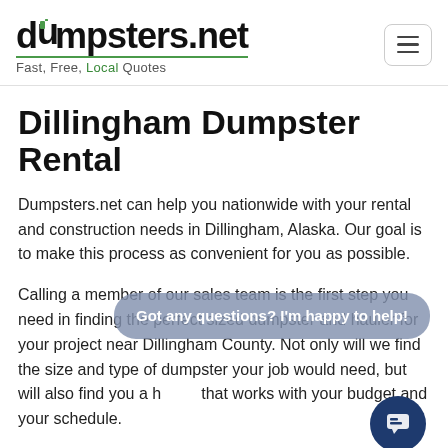dumpsters.net — Fast, Free, Local Quotes
Dillingham Dumpster Rental
Dumpsters.net can help you nationwide with your rental and construction needs in Dillingham, Alaska. Our goal is to make this process as convenient for you as possible.
Calling a member of our sales team is the first step you need in finding the perfect sized dumpster and hauler for your project near Dillingham County. Not only will we find the size and type of dumpster your job would need, but will also find you a hauler that works with your budget and your schedule.